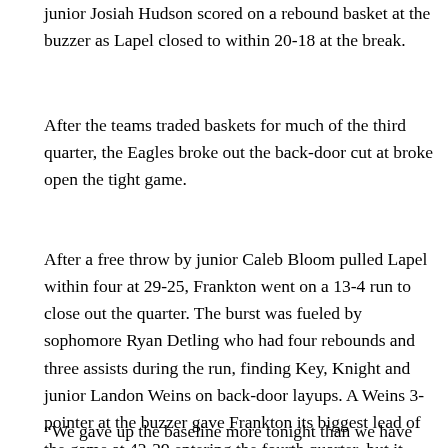junior Josiah Hudson scored on a rebound basket at the buzzer as Lapel closed to within 20-18 at the break.
After the teams traded baskets for much of the third quarter, the Eagles broke out the back-door cut at broke open the tight game.
After a free throw by junior Caleb Bloom pulled Lapel within four at 29-25, Frankton went on a 13-4 run to close out the quarter. The burst was fueled by sophomore Ryan Detling who had four rebounds and three assists during the run, finding Key, Knight and junior Landon Weins on back-door layups. A Weins 3-pointer at the buzzer gave Frankton its biggest lead of the game at 42-29 entering the fourth quarter, but it was the defensive breakdowns that caused Lapel coach Jimmie Howell the most headaches.
“We gave up the baseline more tonight than we have all